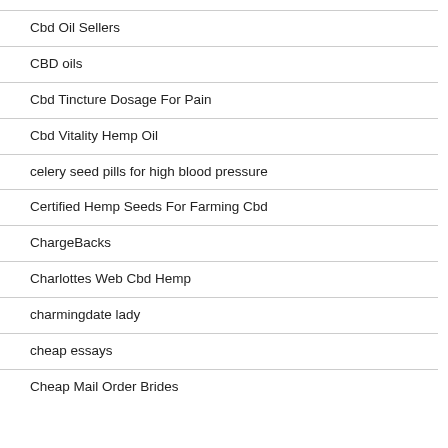Cbd Oil Sellers
CBD oils
Cbd Tincture Dosage For Pain
Cbd Vitality Hemp Oil
celery seed pills for high blood pressure
Certified Hemp Seeds For Farming Cbd
ChargeBacks
Charlottes Web Cbd Hemp
charmingdate lady
cheap essays
Cheap Mail Order Brides